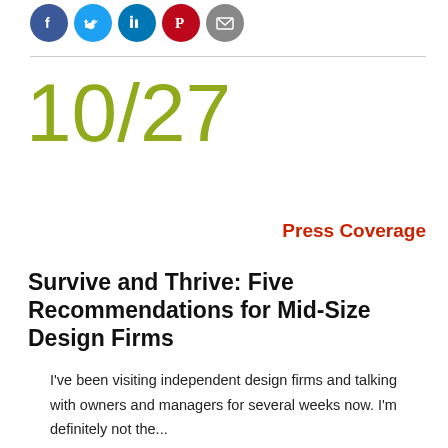[Figure (other): Row of five social media icon circles: Facebook (blue), Twitter (light blue), LinkedIn (blue), Pinterest (red), Email (gray)]
10/27
Press Coverage
Survive and Thrive: Five Recommendations for Mid-Size Design Firms
I've been visiting independent design firms and talking with owners and managers for several weeks now. I'm definitely not the...